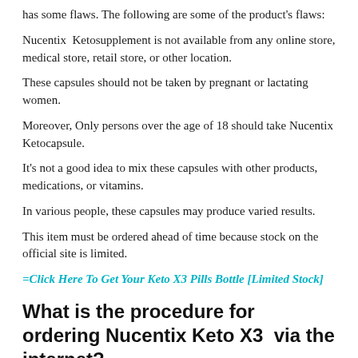has some flaws. The following are some of the product's flaws:
Nucentix  Ketosupplement is not available from any online store, medical store, retail store, or other location.
These capsules should not be taken by pregnant or lactating women.
Moreover, Only persons over the age of 18 should take Nucentix Ketocapsule.
It's not a good idea to mix these capsules with other products, medications, or vitamins.
In various people, these capsules may produce varied results.
This item must be ordered ahead of time because stock on the official site is limited.
=Click Here To Get Your Keto X3 Pills Bottle [Limited Stock]
What is the procedure for ordering Nucentix Keto X3  via the internet?